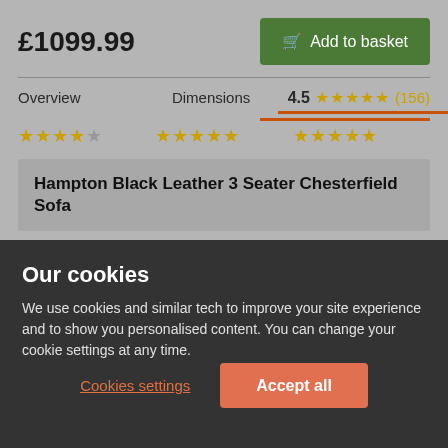£1099.99
Add to basket
Overview   Dimensions   4.5 ★★★★★ (156)
Hampton Black Leather 3 Seater Chesterfield Sofa
— Got my new couch yesterday an so happy with it I live in an apartment so I just go a three seater an it's really
Our cookies
We use cookies and similar tech to improve your site experience and to show you personalised content. You can change your cookie settings at any time.
Cookies settings
Accept all